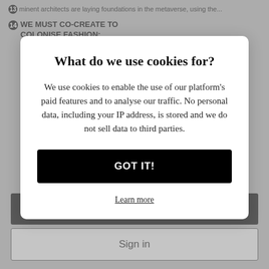...minent architects are laying foundations in the metaverse, using the...
WE MUST CO-CREATE TO COLONISE FASHION:
What do we use cookies for?
We use cookies to enable the use of our platform's paid features and to analyse our traffic. No personal data, including your IP address, is stored and we do not sell data to third parties.
GOT IT!
Learn more
Discover Our Memberships
Sign in